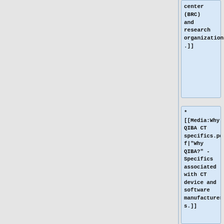center (BRC) and research organization .]]
*[[Media:Why QIBA CT specifics.pdf|"Why QIBA?" - Specifics associated with CT device and software manufacturers.]]
'''2011'''
*Dr